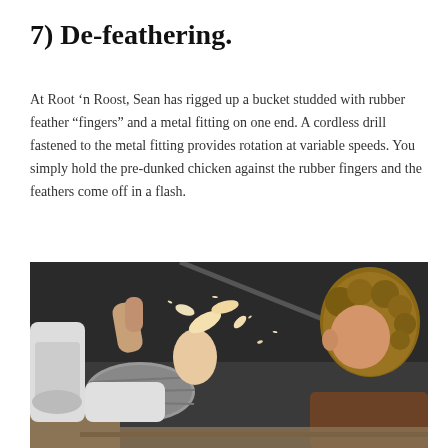7) De-feathering.
At Root ‘n Roost, Sean has rigged up a bucket studded with rubber feather “fingers” and a metal fitting on one end. A cordless drill fastened to the metal fitting provides rotation at variable speeds. You simply hold the pre-dunked chicken against the rubber fingers and the feathers come off in a flash.
[Figure (photo): A person holding a chicken against a spinning de-feathering bucket device, with feathers flying off. Another person with curly hair watches from the right side. Wooden structure and dark tarp visible in background.]